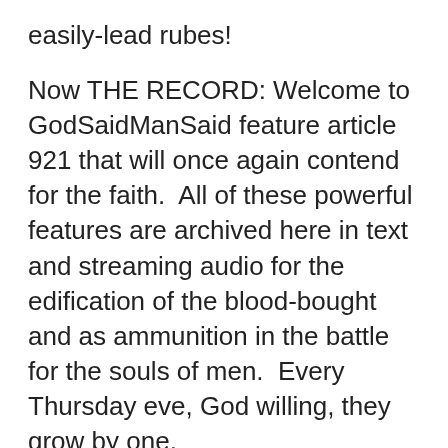easily-lead rubes!
Now THE RECORD: Welcome to GodSaidManSaid feature article 921 that will once again contend for the faith.  All of these powerful features are archived here in text and streaming audio for the edification of the blood-bought and as ammunition in the battle for the souls of men.  Every Thursday eve, God willing, they grow by one.
Be sure to take advantage of these powerful features:
1. You have questions?  God has answers.  Whatever your question, type a keyword into the search bar (top right)